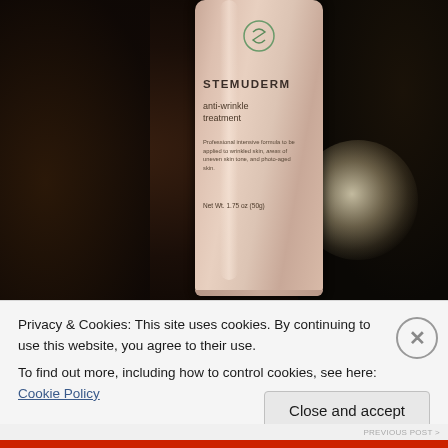[Figure (photo): Photo of a STEMUDERM anti-wrinkle treatment bottle/tube. The cylindrical container is rose-gold/beige colored with a green S logo at top. Text on bottle reads: STEMUDERM, anti-wrinkle treatment, Professional intensive formula to be applied to wrinkled skin, areas of uneven skin tone, and photo-aged skin. Net Wt. 1.75 oz (50g). Background is dark rocky surface with a crystal/candle glow on the right side.]
Privacy & Cookies: This site uses cookies. By continuing to use this website, you agree to their use.
To find out more, including how to control cookies, see here: Cookie Policy